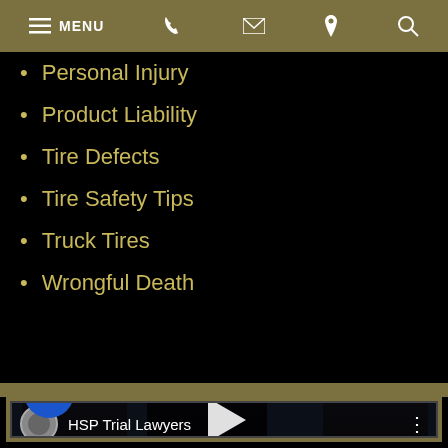MENU navigation bar with phone, email, location, search icons
Personal Injury
Product Liability
Tire Defects
Tire Safety Tips
Truck Tires
Wrongful Death
[Figure (screenshot): Embedded YouTube-style video thumbnail showing HSP Trial Lawyers channel with three lawyers in suits standing side by side in front of a sky background, with a play button overlay and accessibility icon in bottom left corner.]